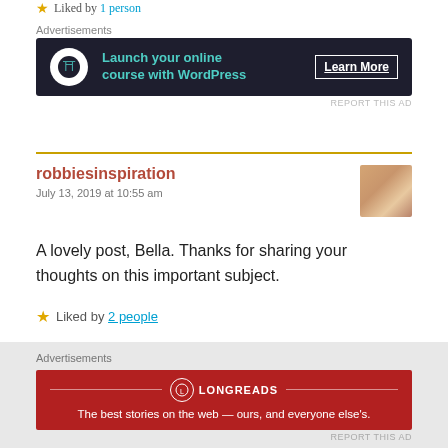Liked by 1 person
Advertisements
[Figure (other): Dark banner ad: Launch your online course with WordPress — Learn More button]
REPORT THIS AD
robbiesinspiration
July 13, 2019 at 10:55 am
A lovely post, Bella. Thanks for sharing your thoughts on this important subject.
Liked by 2 people
Advertisements
[Figure (other): Longreads red banner ad: The best stories on the web — ours, and everyone else's.]